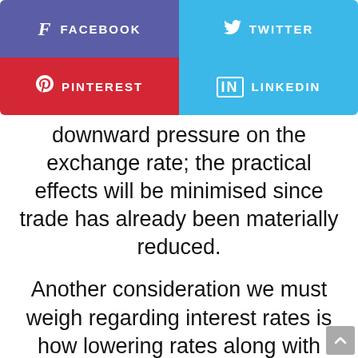[Figure (other): Social media share buttons: Facebook (purple), Twitter (light blue), Pinterest (red), LinkedIn (light blue)]
downward pressure on the exchange rate; the practical effects will be minimised since trade has already been materially reduced.
Another consideration we must weigh regarding interest rates is how lowering rates along with other innovations may unlock the potential for real estate to be catalyst for economic growth